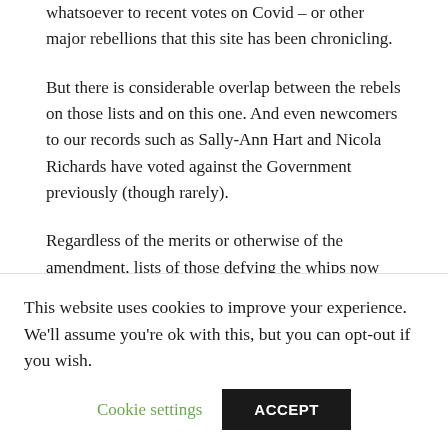whatsoever to recent votes on Covid – or other major rebellions that this site has been chronicling.
But there is considerable overlap between the rebels on those lists and on this one.  And even newcomers to our records such as Sally-Ann Hart and Nicola Richards have voted against the Government previously (though rarely).
Regardless of the merits or otherwise of the amendment, lists of those defying the whips now have a certain predictability.
This website uses cookies to improve your experience. We'll assume you're ok with this, but you can opt-out if you wish.